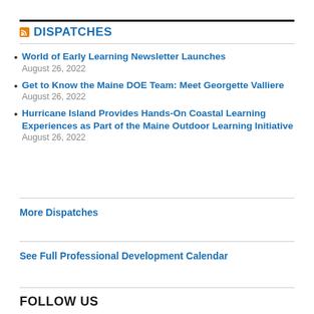DISPATCHES
World of Early Learning Newsletter Launches
August 26, 2022
Get to Know the Maine DOE Team: Meet Georgette Valliere
August 26, 2022
Hurricane Island Provides Hands-On Coastal Learning Experiences as Part of the Maine Outdoor Learning Initiative
August 26, 2022
More Dispatches
See Full Professional Development Calendar
FOLLOW US